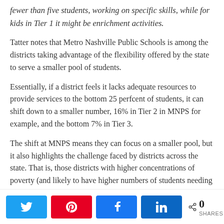fewer than five students, working on specific skills, while for kids in Tier 1 it might be enrichment activities.
Tatter notes that Metro Nashville Public Schools is among the districts taking advantage of the flexibility offered by the state to serve a smaller pool of students.
Essentially, if a district feels it lacks adequate resources to provide services to the bottom 25 perfcent of students, it can shift down to a smaller number, 16% in Tier 2 in MNPS for example, and the bottom 7% in Tier 3.
The shift at MNPS means they can focus on a smaller pool, but it also highlights the challenge faced by districts across the state. That is, those districts with higher concentrations of poverty (and likely to have higher numbers of students needing intervention) also